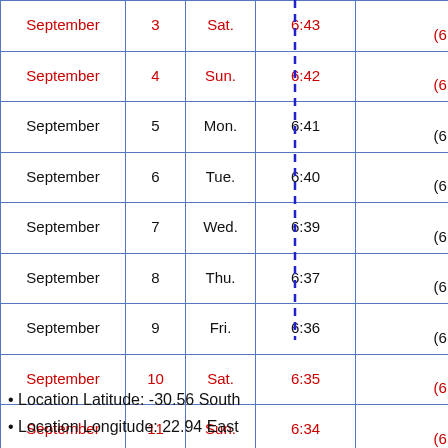| Month | Day | Weekday | Sunrise | Sunset (partial) |
| --- | --- | --- | --- | --- |
| September | 3 | Sat. | 6:43 | 1
(6:…) |
| September | 4 | Sun. | 6:42 | 1
(6:…) |
| September | 5 | Mon. | 6:41 | 1
(6:…) |
| September | 6 | Tue. | 6:40 | 1
(6:…) |
| September | 7 | Wed. | 6:39 | 1
(6:…) |
| September | 8 | Thu. | 6:37 | 1
(6:…) |
| September | 9 | Fri. | 6:36 | 1
(6:…) |
| September | 10 | Sat. | 6:35 | 1
(6:…) |
| September | 11 | Sun. | 6:34 | 1
(6:…) |
Location Latitude: -30.56 South
Location Longitude: 22.94 East